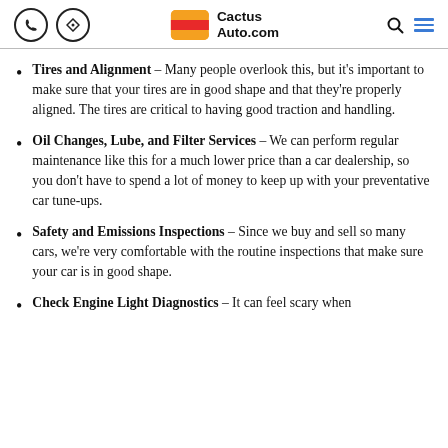CactusAuto.com
Tires and Alignment – Many people overlook this, but it's important to make sure that your tires are in good shape and that they're properly aligned. The tires are critical to having good traction and handling.
Oil Changes, Lube, and Filter Services – We can perform regular maintenance like this for a much lower price than a car dealership, so you don't have to spend a lot of money to keep up with your preventative car tune-ups.
Safety and Emissions Inspections – Since we buy and sell so many cars, we're very comfortable with the routine inspections that make sure your car is in good shape.
Check Engine Light Diagnostics – It can feel scary when